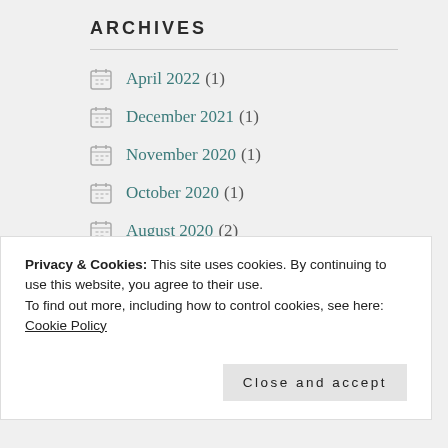ARCHIVES
April 2022 (1)
December 2021 (1)
November 2020 (1)
October 2020 (1)
August 2020 (2)
July 2020 (1)
June 2020 (1)
Privacy & Cookies: This site uses cookies. By continuing to use this website, you agree to their use. To find out more, including how to control cookies, see here: Cookie Policy
Close and accept